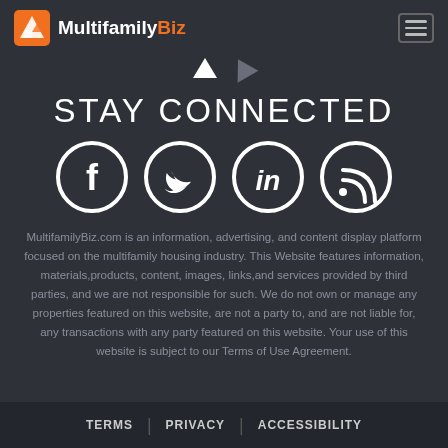MultifamilyBiz
[Figure (logo): MultifamilyBiz logo with orange diamond icon and white/orange text, plus hamburger menu button on right]
[Figure (other): Two small decorative chevron/arrow icons pointing in different directions]
STAY CONNECTED
[Figure (infographic): Four circular social media icons: Facebook, Twitter, LinkedIn, RSS feed — white on dark circular outlines]
MultifamilyBiz.com is an information, advertising, and content display platform focused on the multifamily housing industry. This Website features information, materials,products, content, images, links,and services provided by third parties, and we are not responsible for such. We do not own or manage any properties featured on this website, are not a party to, and are not liable for, any transactions with any party featured on this website. Your use of this website is subject to our Terms of Use Agreement.
TERMS | PRIVACY | ACCESSIBILITY